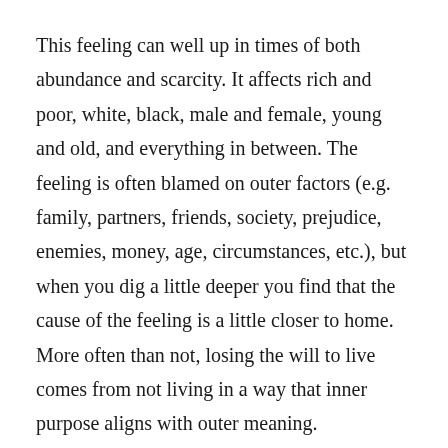This feeling can well up in times of both abundance and scarcity. It affects rich and poor, white, black, male and female, young and old, and everything in between. The feeling is often blamed on outer factors (e.g. family, partners, friends, society, prejudice, enemies, money, age, circumstances, etc.), but when you dig a little deeper you find that the cause of the feeling is a little closer to home. More often than not, losing the will to live comes from not living in a way that inner purpose aligns with outer meaning.
If you are not living on purpose you will eventually fall prey to the feeling that life or life as you've been living it, is pointless. Some people keep themselves busy—too